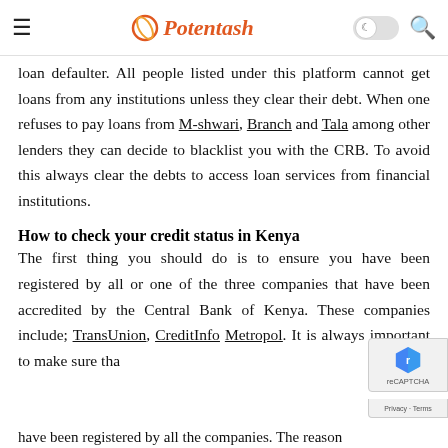≡  Potentash  🌙 🔍
loan defaulter. All people listed under this platform cannot get loans from any institutions unless they clear their debt. When one refuses to pay loans from M-shwari, Branch and Tala among other lenders they can decide to blacklist you with the CRB. To avoid this always clear the debts to access loan services from financial institutions.
How to check your credit status in Kenya
The first thing you should do is to ensure you have been registered by all or one of the three companies that have been accredited by the Central Bank of Kenya. These companies include; TransUnion, CreditInfo Metropol. It is always important to make sure that have been registered by all the companies. The reason